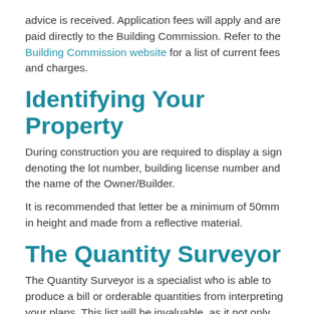advice is received. Application fees will apply and are paid directly to the Building Commission. Refer to the Building Commission website for a list of current fees and charges.
Identifying Your Property
During construction you are required to display a sign denoting the lot number, building license number and the name of the Owner/Builder.
It is recommended that letter be a minimum of 50mm in height and made from a reflective material.
The Quantity Surveyor
The Quantity Surveyor is a specialist who is able to produce a bill or orderable quantities from interpreting your plans. This list will be invaluable, as it not only provides an accurate "shopping list", but also enable concise pricing of all materials needed to build your